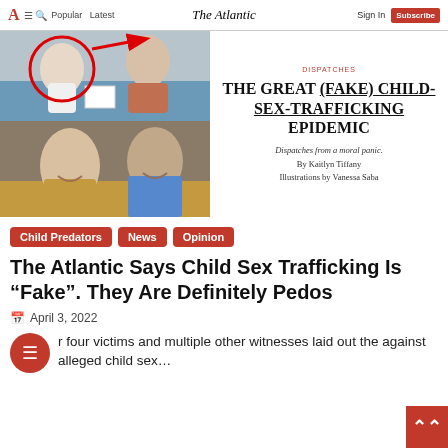The Atlantic — Sign In | Subscribe
[Figure (photo): Screenshot of The Atlantic website showing a photo collage on the left (two women sitting on a couch, top; two men laughing, bottom, with a red circle annotation and red arrow pointing left) and an article preview on the right with headline THE GREAT (FAKE) CHILD-SEX-TRAFFICKING EPIDEMIC, subhead Dispatches from a moral panic., By Kaitlyn Tiffany, Illustrations by Vanessa Saba]
Child Predators
News
Opinion
The Atlantic Says Child Sex Trafficking Is “Fake”. They Are Definitely Pedos
April 3, 2022
r four victims and multiple other witnesses laid out the against alleged child sex…